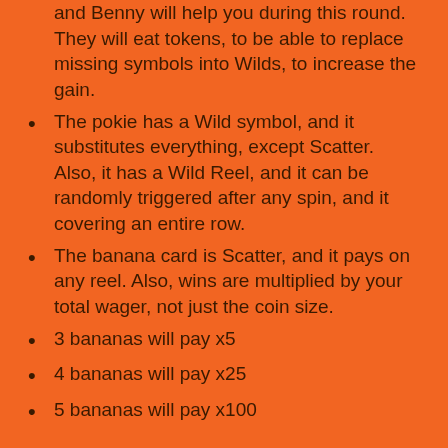and Benny will help you during this round. They will eat tokens, to be able to replace missing symbols into Wilds, to increase the gain.
The pokie has a Wild symbol, and it substitutes everything, except Scatter. Also, it has a Wild Reel, and it can be randomly triggered after any spin, and it covering an entire row.
The banana card is Scatter, and it pays on any reel. Also, wins are multiplied by your total wager, not just the coin size.
3 bananas will pay x5
4 bananas will pay x25
5 bananas will pay x100
Some Hints on to How to Play